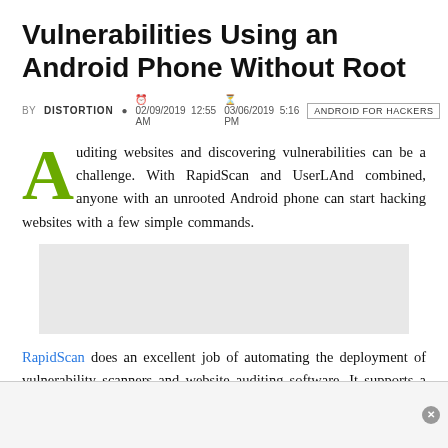Vulnerabilities Using an Android Phone Without Root
BY DISTORTION  02/09/2019 12:55 AM  03/06/2019 5:16 PM  ANDROID FOR HACKERS
Auditing websites and discovering vulnerabilities can be a challenge. With RapidScan and UserLAnd combined, anyone with an unrooted Android phone can start hacking websites with a few simple commands.
[Figure (other): Gray advertisement placeholder box]
RapidScan does an excellent job of automating the deployment of vulnerability scanners and website auditing software. It supports a large number of effective and noteworthy tools that make finding